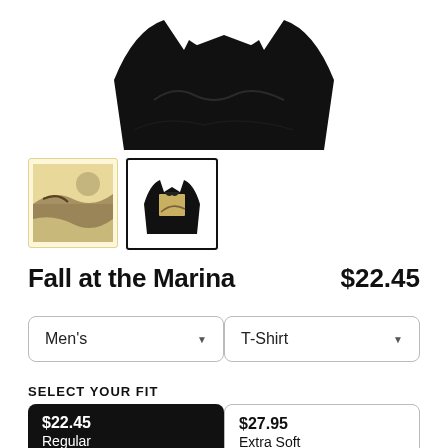[Figure (photo): Black t-shirt product photo shown folded from behind, partially cropped at top]
[Figure (photo): Thumbnail 1: painting/illustration on cream/yellow background]
[Figure (photo): Thumbnail 2: black t-shirt with illustration on front, selected (black border)]
Fall at the Marina
$22.45
Men's
T-Shirt
SELECT YOUR FIT
$22.45
Regular
$27.95
Extra Soft